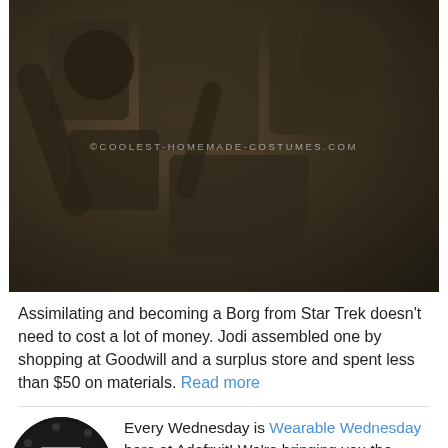[Figure (photo): Dark, steampunk-style Borg costume made from various mechanical and industrial parts, photographed in dim lighting. Watermark reads: © COOLEST-HOMEMADE-COSTUMES.COM]
Assimilating and becoming a Borg from Star Trek doesn't need to cost a lot of money. Jodi assembled one by shopping at Goodwill and a surplus store and spent less than $50 on materials. Read more
[Figure (photo): Circular circuit board (Adafruit LilyPad or similar wearable electronics board) with yellow/gold connector in the center, black PCB, on dark background.]
Every Wednesday is Wearable Wednesday here at Adafruit! We're bringing you the blinkiest, most fashionable, innovative, and useful